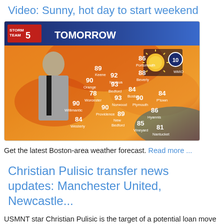Video: Sunny, hot day to start weekend
[Figure (screenshot): Weather forecast screenshot showing STORM TEAM 5 'TOMORROW' map of New England with temperature readings: Portsmouth 86, Keene 89, Nashua 92, Beverly 88, Orange 90, Bedford 93, Boston 84, Worcester 78, Norwood 93, Plymouth 90, P'town 84, Willimantic 90, Providence 90, New Bedford 89, Hyannis 86, Vineyard 85, Westerly 84, Nantucket 81. A sunny weather icon with number 10 is shown in the upper right of the map.]
Get the latest Boston-area weather forecast. Read more ...
Christian Pulisic transfer news updates: Manchester United, Newcastle...
USMNT star Christian Pulisic is the target of a potential loan move to Newcastle United, Manchester United and many others, according to reports. Read more ...